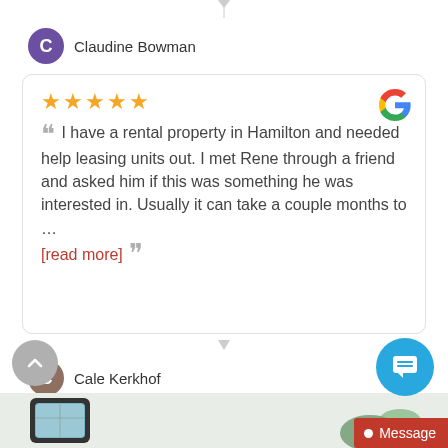Claudine Bowman
★★★★★ ❝ I have a rental property in Hamilton and needed help leasing units out. I met Rene through a friend and asked him if this was something he was interested in. Usually it can take a couple months to ... [read more] ❞
Cale Kerkhof
Load More